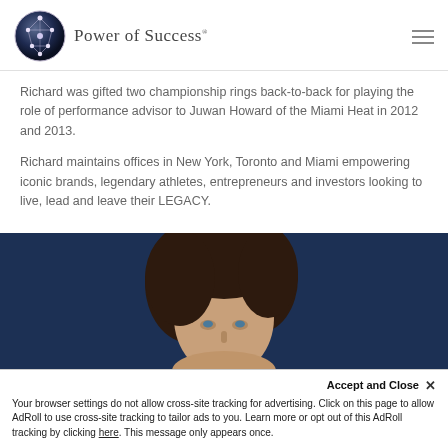Power of Success
Richard was gifted two championship rings back-to-back for playing the role of performance advisor to Juwan Howard of the Miami Heat in 2012 and 2013.
Richard maintains offices in New York, Toronto and Miami empowering iconic brands, legendary athletes, entrepreneurs and investors looking to live, lead and leave their LEGACY.
[Figure (photo): Photo of a woman with dark hair against a dark blue background, cropped to show top portion of face]
Accept and Close ✕
Your browser settings do not allow cross-site tracking for advertising. Click on this page to allow AdRoll to use cross-site tracking to tailor ads to you. Learn more or opt out of this AdRoll tracking by clicking here. This message only appears once.